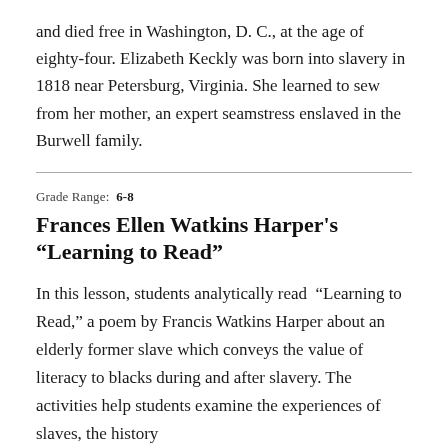and died free in Washington, D. C., at the age of eighty-four. Elizabeth Keckly was born into slavery in 1818 near Petersburg, Virginia. She learned to sew from her mother, an expert seamstress enslaved in the Burwell family.
Grade Range: 6-8
Frances Ellen Watkins Harper's “Learning to Read”
In this lesson, students analytically read “Learning to Read,” a poem by Francis Watkins Harper about an elderly former slave which conveys the value of literacy to blacks during and after slavery. The activities help students examine the experiences of slaves, the history